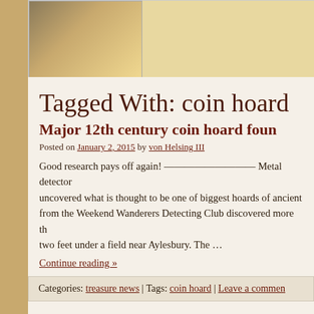[Figure (photo): Partial photo visible at top of page, showing outdoor scene with brownish/golden tones]
Tagged With: coin hoard
Major 12th century coin hoard foun
Posted on January 2, 2015 by von Helsing III
Good research pays off again! ————————— Metal detector uncovered what is thought to be one of biggest hoards of ancient from the Weekend Wanderers Detecting Club discovered more th two feet under a field near Aylesbury. The …
Continue reading »
Categories: treasure news | Tags: coin hoard | Leave a commen
Second Jewish Revolt Coin Hoard Fe
Posted on August 14, 2014 by von Helsing III